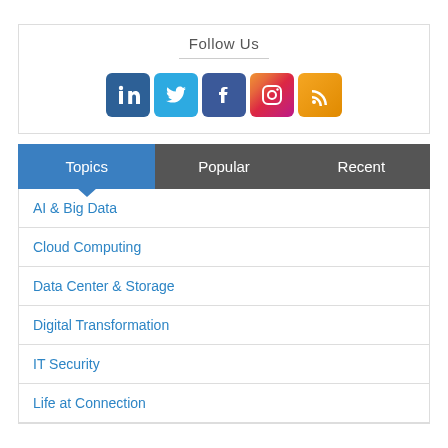Follow Us
[Figure (infographic): Social media icons: LinkedIn, Twitter, Facebook, Instagram, RSS feed]
| Topics | Popular | Recent |
| --- | --- | --- |
AI & Big Data
Cloud Computing
Data Center & Storage
Digital Transformation
IT Security
Life at Connection